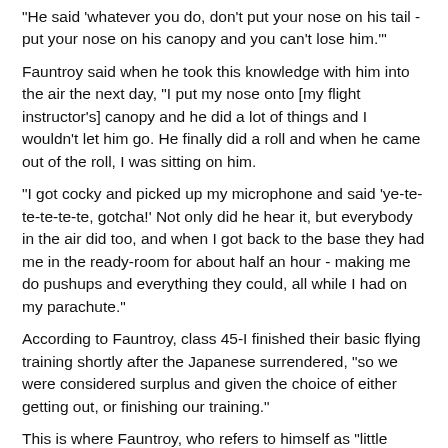"He said 'whatever you do, don't put your nose on his tail - put your nose on his canopy and you can't lose him.'"
Fauntroy said when he took this knowledge with him into the air the next day, "I put my nose onto [my flight instructor's] canopy and he did a lot of things and I wouldn't let him go. He finally did a roll and when he came out of the roll, I was sitting on him.
"I got cocky and picked up my microphone and said 'ye-te-te-te-te-te, gotcha!' Not only did he hear it, but everybody in the air did too, and when I got back to the base they had me in the ready-room for about half an hour - making me do pushups and everything they could, all while I had on my parachute."
According to Fauntroy, class 45-I finished their basic flying training shortly after the Japanese surrendered, "so we were considered surplus and given the choice of either getting out, or finishing our training."
This is where Fauntroy, who refers to himself as "little